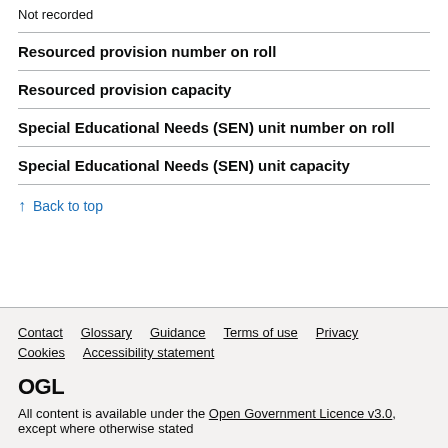Not recorded
Resourced provision number on roll
Resourced provision capacity
Special Educational Needs (SEN) unit number on roll
Special Educational Needs (SEN) unit capacity
↑ Back to top
Contact | Glossary | Guidance | Terms of use | Privacy | Cookies | Accessibility statement
OGL
All content is available under the Open Government Licence v3.0, except where otherwise stated